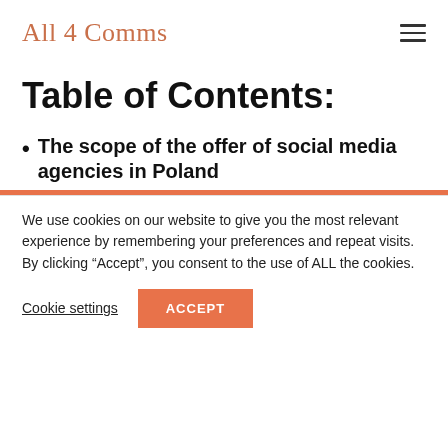All 4 Comms
Table of Contents:
The scope of the offer of social media agencies in Poland
We use cookies on our website to give you the most relevant experience by remembering your preferences and repeat visits. By clicking “Accept”, you consent to the use of ALL the cookies.
Cookie settings  ACCEPT